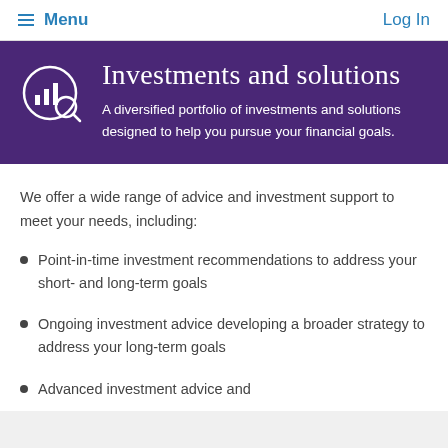Menu   Log In
Investments and solutions
A diversified portfolio of investments and solutions designed to help you pursue your financial goals.
We offer a wide range of advice and investment support to meet your needs, including:
Point-in-time investment recommendations to address your short- and long-term goals
Ongoing investment advice developing a broader strategy to address your long-term goals
Advanced investment advice and